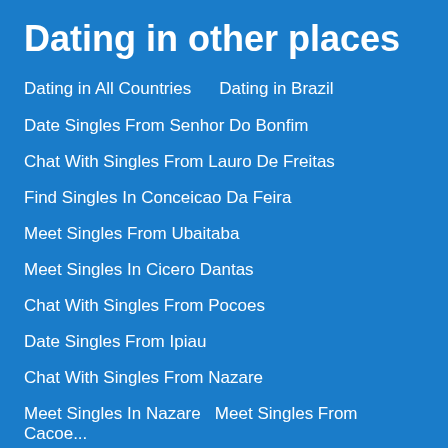Dating in other places
Dating in All Countries    Dating in Brazil
Date Singles From Senhor Do Bonfim
Chat With Singles From Lauro De Freitas
Find Singles In Conceicao Da Feira
Meet Singles From Ubaitaba
Meet Singles In Cicero Dantas
Chat With Singles From Pocoes
Date Singles From Ipiau
Chat With Singles From Nazare
Meet Singles In Nazare   Meet Singles From Cacoe...